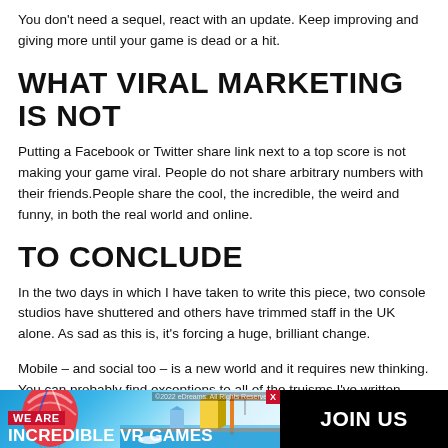You don't need a sequel, react with an update. Keep improving and giving more until your game is dead or a hit.
WHAT VIRAL MARKETING IS NOT
Putting a Facebook or Twitter share link next to a top score is not making your game viral. People do not share arbitrary numbers with their friends.People share the cool, the incredible, the weird and funny, in both the real world and online.
TO CONCLUDE
In the two days in which I have taken to write this piece, two console studios have shuttered and others have trimmed staff in the UK alone. As sad as this is, it's forcing a huge, brilliant change.
Mobile – and social too – is a new world and it requires new thinking. You can probably find exceptions to all of the truisms I've written here,
[Figure (infographic): Advertisement banner: WE ARE INCREDIBLE VR GAMES with JOIN US call to action, featuring a hot air balloon and isometric city game art]